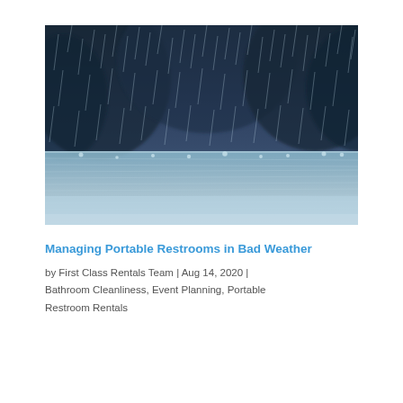[Figure (photo): Close-up photograph of heavy rain falling on a wet surface with dark blurred background, showing rain streaks and water splashing in blue-grey tones.]
Managing Portable Restrooms in Bad Weather
by First Class Rentals Team | Aug 14, 2020 | Bathroom Cleanliness, Event Planning, Portable Restroom Rentals